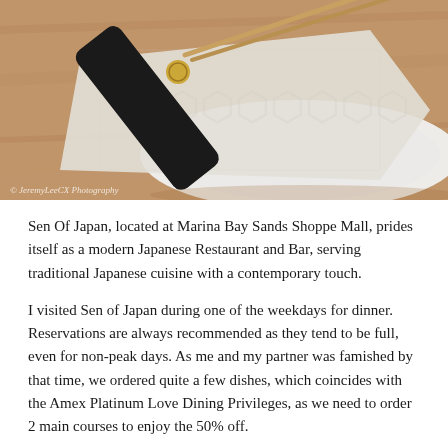[Figure (photo): Close-up photo of chopsticks in a black cylindrical holder with a gold logo, resting on a white folded napkin on a white plate, set on a wooden table. Watermark reads '© JeremyLeeCX Photography'.]
Sen Of Japan, located at Marina Bay Sands Shoppe Mall, prides itself as a modern Japanese Restaurant and Bar, serving traditional Japanese cuisine with a contemporary touch.
I visited Sen of Japan during one of the weekdays for dinner. Reservations are always recommended as they tend to be full, even for non-peak days. As me and my partner was famished by that time, we ordered quite a few dishes, which coincides with the Amex Platinum Love Dining Privileges, as we need to order 2 main courses to enjoy the 50% off.